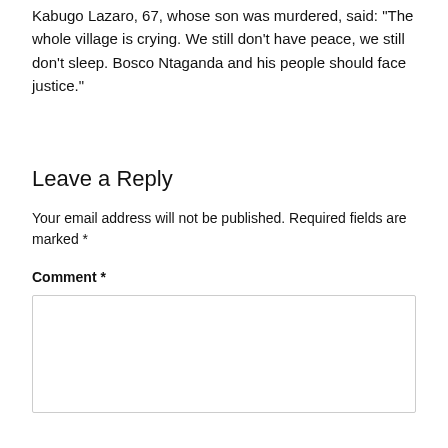Kabugo Lazaro, 67, whose son was murdered, said: "The whole village is crying. We still don't have peace, we still don't sleep. Bosco Ntaganda and his people should face justice."
Leave a Reply
Your email address will not be published. Required fields are marked *
Comment *